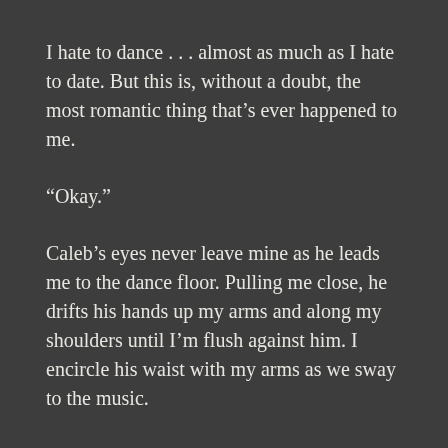I hate to dance . . . almost as much as I hate to date. But this is, without a doubt, the most romantic thing that’s ever happened to me.
“Okay.”
Caleb’s eyes never leave mine as he leads me to the dance floor. Pulling me close, he drifts his hands up my arms and along my shoulders until I’m flush against him. I encircle his waist with my arms as we sway to the music.
Then the most amazing thing happens.